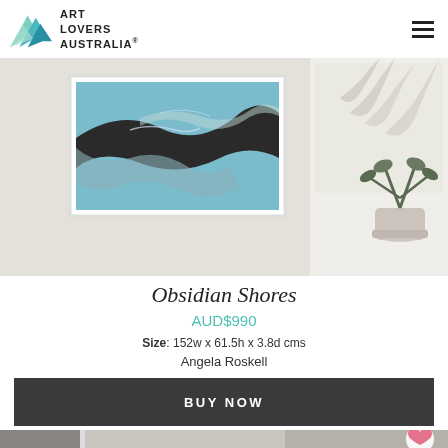Art Lovers Australia
[Figure (photo): Artwork 'Obsidian Shores' displayed on a white wall in a room setting with a plant in a pot to the right]
Obsidian Shores
AUD$990
Size: 152w x 61.5h x 3.8d cms
Angela Roskell
BUY NOW
[Figure (photo): Bottom partial photo of another artwork or room scene]